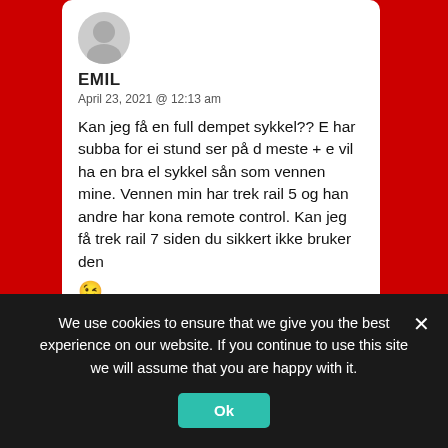[Figure (illustration): User avatar silhouette icon in gray circle]
EMIL
April 23, 2021 @ 12:13 am
Kan jeg få en full dempet sykkel?? E har subba for ei stund ser på d meste + e vil ha en bra el sykkel sån som vennen mine. Vennen min har trek rail 5 og han andre har kona remote control. Kan jeg få trek rail 7 siden du sikkert ikke bruker den 😉
REPLY
We use cookies to ensure that we give you the best experience on our website. If you continue to use this site we will assume that you are happy with it.
Ok